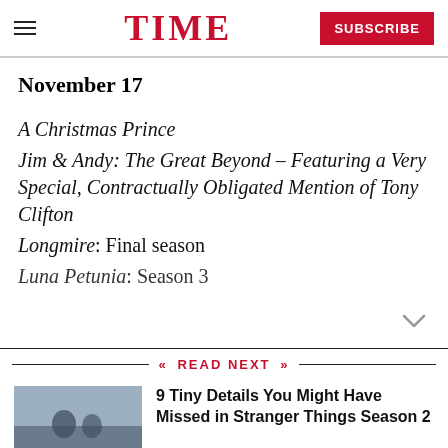TIME | SUBSCRIBE
November 17
A Christmas Prince
Jim & Andy: The Great Beyond – Featuring a Very Special, Contractually Obligated Mention of Tony Clifton
Longmire: Final season
Luna Petunia: Season 3
READ NEXT
9 Tiny Details You Might Have Missed in Stranger Things Season 2